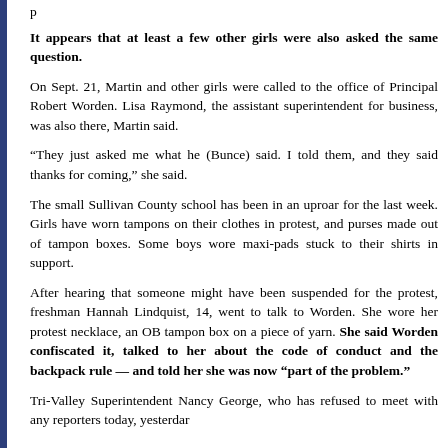It appears that at least a few other girls were also asked the same question.
On Sept. 21, Martin and other girls were called to the office of Principal Robert Worden. Lisa Raymond, the assistant superintendent for business, was also there, Martin said.
“They just asked me what he (Bunce) said. I told them, and they said thanks for coming,” she said.
The small Sullivan County school has been in an uproar for the last week. Girls have worn tampons on their clothes in protest, and purses made out of tampon boxes. Some boys wore maxi-pads stuck to their shirts in support.
After hearing that someone might have been suspended for the protest, freshman Hannah Lindquist, 14, went to talk to Worden. She wore her protest necklace, an OB tampon box on a piece of yarn. She said Worden confiscated it, talked to her about the code of conduct and the backpack rule — and told her she was now “part of the problem.”
Tri-Valley Superintendent Nancy George, who has refused to meet with any reporters today, yesterdar